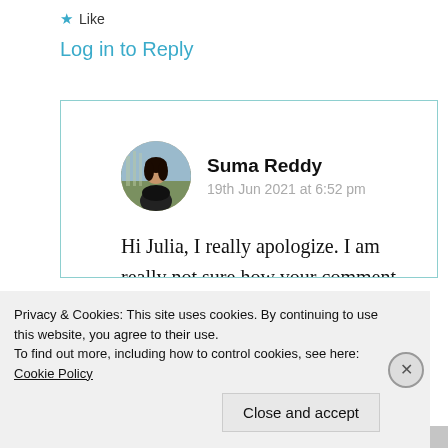★ Like
Log in to Reply
Suma Reddy
19th Jun 2021 at 6:52 pm
Hi Julia, I really apologize. I am really not sure how your comment went into the spam. I was just checking n found
Privacy & Cookies: This site uses cookies. By continuing to use this website, you agree to their use.
To find out more, including how to control cookies, see here: Cookie Policy
Close and accept